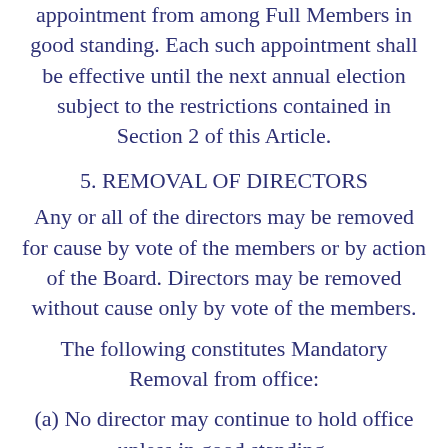appointment from among Full Members in good standing. Each such appointment shall be effective until the next annual election subject to the restrictions contained in Section 2 of this Article.
5. REMOVAL OF DIRECTORS
Any or all of the directors may be removed for cause by vote of the members or by action of the Board. Directors may be removed without cause only by vote of the members.
The following constitutes Mandatory Removal from office:
(a) No director may continue to hold office unless in good standing.
(b) A director shall be deemed to have vacated his office after being absent for more than three (3)